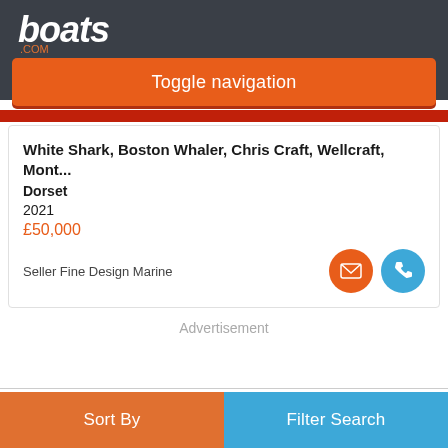boats.com
Toggle navigation
White Shark, Boston Whaler, Chris Craft, Wellcraft, Mont...
Dorset
2021
£50,000
Seller Fine Design Marine
Advertisement
Sort By
Filter Search